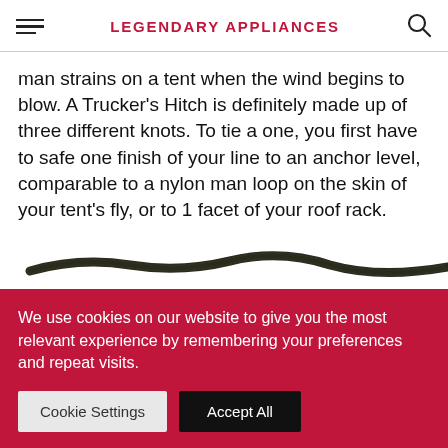LEGENDARY APPLIANCES
man strains on a tent when the wind begins to blow. A Trucker's Hitch is definitely made up of three different knots. To tie a one, you first have to safe one finish of your line to an anchor level, comparable to a nylon man loop on the skin of your tent's fly, or to 1 facet of your roof rack.
[Figure (photo): Close-up photo of a dark braided rope against a white background]
We use cookies on our website to give you the most relevant experience by remembering your preferences and repeat visits.